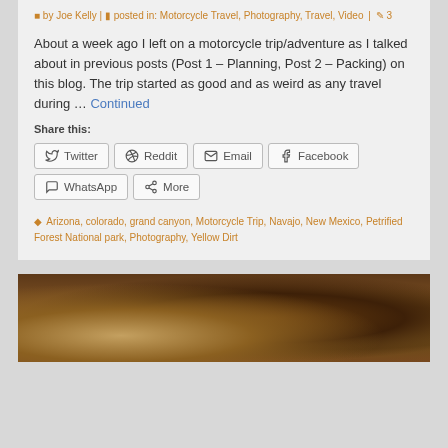by Joe Kelly | posted in: Motorcycle Travel, Photography, Travel, Video | 3
About a week ago I left on a motorcycle trip/adventure as I talked about in previous posts (Post 1 – Planning, Post 2 – Packing) on this blog. The trip started as good and as weird as any travel during … Continued
Share this:
Twitter
Reddit
Email
Facebook
WhatsApp
More
Arizona, colorado, grand canyon, Motorcycle Trip, Navajo, New Mexico, Petrified Forest National park, Photography, Yellow Dirt
[Figure (photo): Partial view of pottery or clay work with textured wooden background]